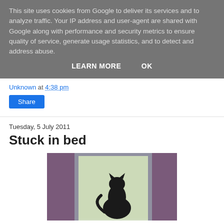This site uses cookies from Google to deliver its services and to analyze traffic. Your IP address and user-agent are shared with Google along with performance and security metrics to ensure quality of service, generate usage statistics, and to detect and address abuse.
LEARN MORE   OK
Unknown at 4:38 pm
Share
Tuesday, 5 July 2011
Stuck in bed
[Figure (photo): A black cat silhouette sitting in a window with curtains on either side and greenery visible outside]